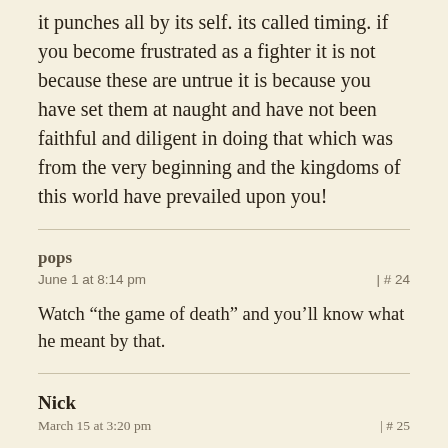it punches all by its self. its called timing. if you become frustrated as a fighter it is not because these are untrue it is because you have set them at naught and have not been faithful and diligent in doing that which was from the very beginning and the kingdoms of this world have prevailed upon you!
pops
June 1 at 8:14 pm | # 24
Watch “the game of death” and you’ll know what he meant by that.
Nick
March 15 at 3:20 pm | # 25
“When you pour water in a cup it becomes the cup.”